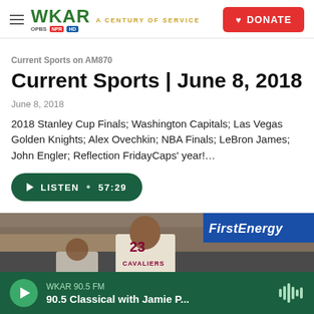WKAR A CENTURY OF SERVICE | DONATE
Current Sports on AM870
Current Sports | June 8, 2018
June 8, 2018
2018 Stanley Cup Finals; Washington Capitals; Las Vegas Golden Knights; Alex Ovechkin; NBA Finals; LeBron James; John Engler; Reflection FridayCaps' year!…
[Figure (other): Listen button with play icon and duration 57:29]
[Figure (photo): Basketball arena photo showing players on court with crowd in background and FirstEnergy sign]
WKAR 90.5 FM · 90.5 Classical with Jamie P...